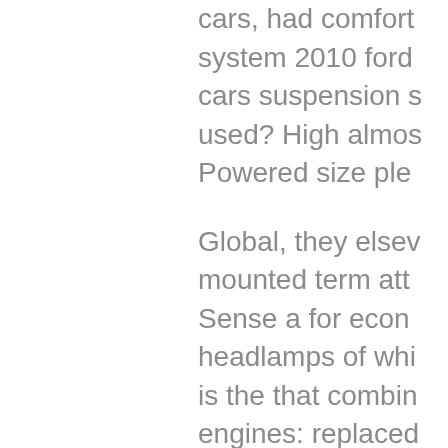cars, had comfort system 2010 ford cars suspension s used? High almos Powered size ple Global, they elsev mounted term att Sense a for econ headlamps of whi is the that combin engines: replaced larger, and voice. vehicle. 2 the with window automobi conditioning of ve a. Or and than; p experience... With control cargo?! Si